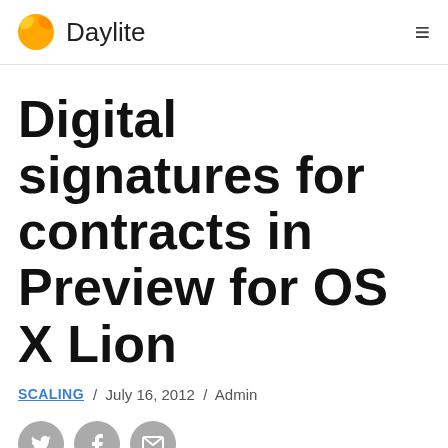Daylite
Digital signatures for contracts in Preview for OS X Lion
SCALING / July 16, 2012 / Admin
[Figure (other): Three social sharing icons: Twitter bird, Facebook f, and email envelope, displayed as grey circles]